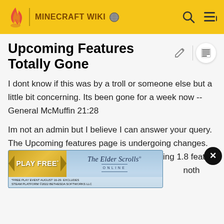MINECRAFT WIKI
Upcoming Features Totally Gone
I dont know if this was by a troll or someone else but a little bit concerning. Its been gone for a week now -- General McMuffin 21:28
Im not an admin but I believe I can answer your query. The Upcoming features page is undergoing changes. There are links on the page to the upcoming 1.8 featur...
[Figure (screenshot): The Elder Scrolls Online advertisement banner with 'PLAY FREE' on gold background on left, Elder Scrolls Online logo/title on blue-grey background on right, with disclaimer text below, and a black X close button overlapping on the right side]
Added 14w02a, blocked when trying to move 1.7.4 and 1.7.2